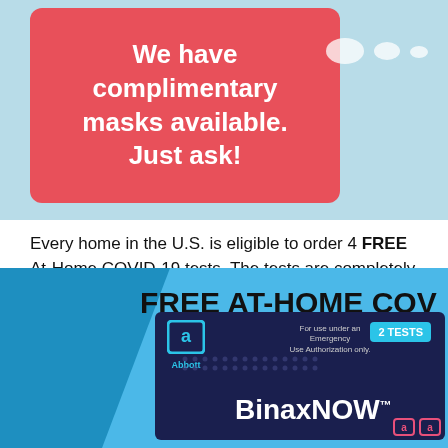[Figure (infographic): Light blue banner with a pink/red rounded rectangle box containing bold white text 'We have complimentary masks available. Just ask!' with speech bubble decorations on the right side.]
Every home in the U.S. is eligible to order 4 FREE At-Home COVID-19 tests. The tests are completely FREE. Click HERE to order.
McKinley Memorial Library is distributing FREE At-Home COVID-19 Test Kits in partnership with the Ohio Department of Health. Click HERE to learn more.
[Figure (infographic): Blue banner showing 'FREE AT-HOME COV...' text with a BinaxNOW Abbott COVID-19 test kit box image on a blue diagonal background.]